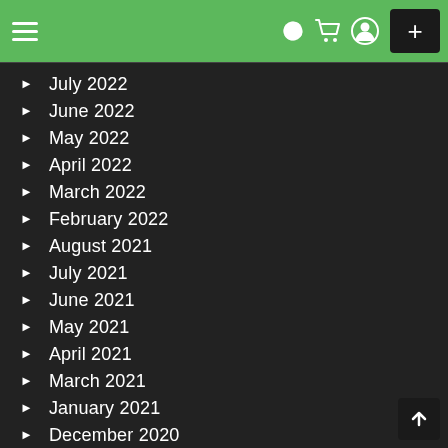Navigation header with hamburger menu, dark mode, cart, user, and plus button
July 2022
June 2022
May 2022
April 2022
March 2022
February 2022
August 2021
July 2021
June 2021
May 2021
April 2021
March 2021
January 2021
December 2020
November 2020
October 2020
September 2020
August 2020
July 2020